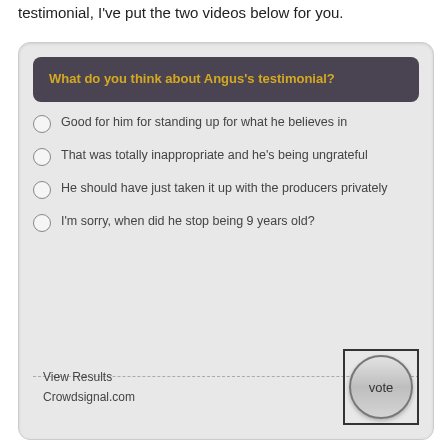testimonial, I've put the two videos below for you.
[Figure (other): Poll widget asking 'What do you think about Angus's testimonial?' with four radio button options: 'Good for him for standing up for what he believes in', 'That was totally inappropriate and he's being ungrateful', 'He should have just taken it up with the producers privately', 'I'm sorry, when did he stop being 9 years old?'. Footer shows 'View Results', 'Crowdsignal.com', and a Vote button.]